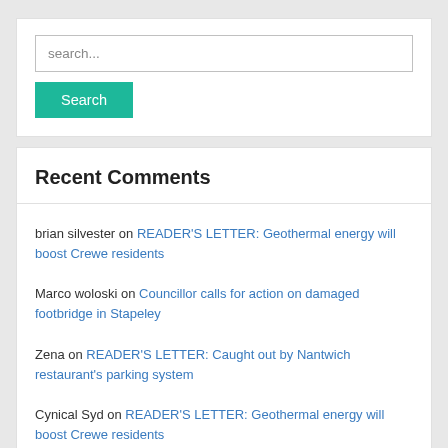search...
Search
Recent Comments
brian silvester on READER'S LETTER: Geothermal energy will boost Crewe residents
Marco woloski on Councillor calls for action on damaged footbridge in Stapeley
Zena on READER'S LETTER: Caught out by Nantwich restaurant's parking system
Cynical Syd on READER'S LETTER: Geothermal energy will boost Crewe residents
Cliff on Councillor calls for action on damaged footbridge in